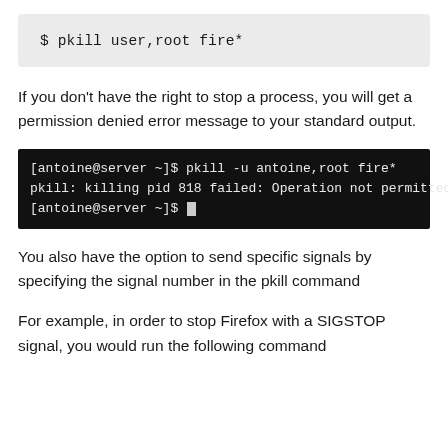$ pkill user,root fire*
If you don't have the right to stop a process, you will get a permission denied error message to your standard output.
[Figure (screenshot): Terminal screenshot showing: [antoine@server ~]$ pkill -u antoine,root fire*  pkill: killing pid 818 failed: Operation not permitted  [antoine@server ~]$]
You also have the option to send specific signals by specifying the signal number in the pkill command
For example, in order to stop Firefox with a SIGSTOP signal, you would run the following command